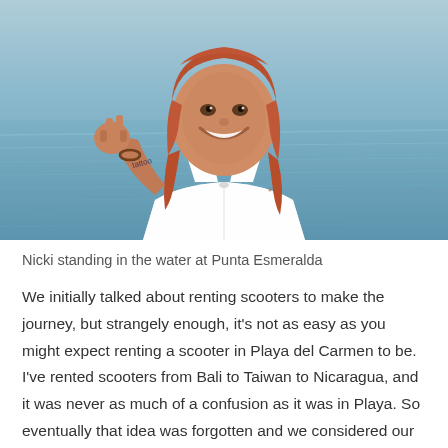[Figure (photo): A woman with red/auburn hair smiling and making a peace/rock sign with her hand, standing in shallow water at a beach. She is wearing a white tank top. Tattoos visible on her arm. Water and sky visible in the background. Selfie-style photo taken at Punta Esmeralda.]
Nicki standing in the water at Punta Esmeralda
We initially talked about renting scooters to make the journey, but strangely enough, it's not as easy as you might expect renting a scooter in Playa del Carmen to be. I've rented scooters from Bali to Taiwan to Nicaragua, and it was never as much of a confusion as it was in Playa. So eventually that idea was forgotten and we considered our other options. Yes, there is a colectivo that leaves from